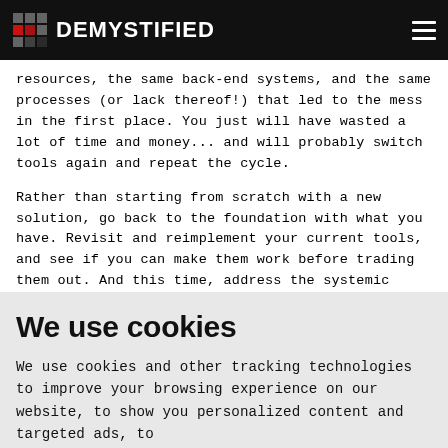DEMYSTIFIED
resources, the same back-end systems, and the same processes (or lack thereof!) that led to the mess in the first place. You just will have wasted a lot of time and money... and will probably switch tools again and repeat the cycle.
Rather than starting from scratch with a new solution, go back to the foundation with what you have. Revisit and reimplement your current tools, and see if you can make them work before trading them out. And this time, address the systemic issues that brought you to this place, rather than being swayed by fancy demos.
We use cookies
We use cookies and other tracking technologies to improve your browsing experience on our website, to show you personalized content and targeted ads, to